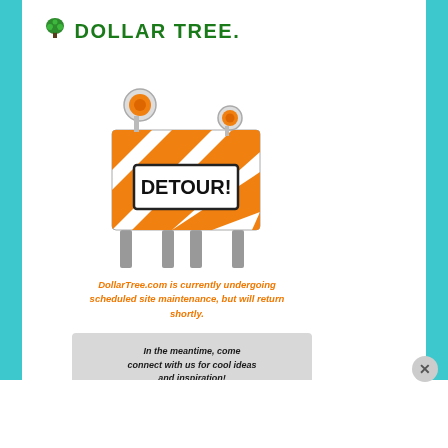[Figure (logo): Dollar Tree logo with green tree icon and green bold text DOLLAR TREE]
[Figure (illustration): Detour road barrier sign with orange and white diagonal stripes and DETOUR! text in bold]
DollarTree.com is currently undergoing scheduled site maintenance, but will return shortly.
In the meantime, come connect with us for cool ideas and inspiration!
[Figure (infographic): Social media icons: Pinterest (red), Instagram (gradient), Facebook (blue)]
Advertisements
[Figure (photo): Macy's advertisement banner: KISS BORING LIPS GOODBYE with SHOP NOW button and Macy's star logo]